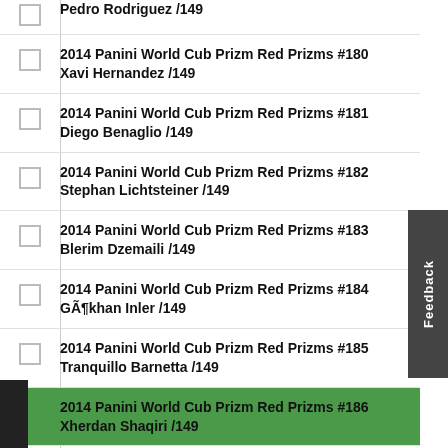Pedro Rodriguez /149
2014 Panini World Cub Prizm Red Prizms #180
Xavi Hernandez /149
2014 Panini World Cub Prizm Red Prizms #181
Diego Benaglio /149
2014 Panini World Cub Prizm Red Prizms #182
Stephan Lichtsteiner /149
2014 Panini World Cub Prizm Red Prizms #183
Blerim Dzemaili /149
2014 Panini World Cub Prizm Red Prizms #184
Gökhan Inler /149
2014 Panini World Cub Prizm Red Prizms #185
Tranquillo Barnetta /149
2014 Panini World Cub Prizm Red Prizms #186
Xherdan Shaqiri /149
2014 Panini World Cub Prizm Red Prizms #187